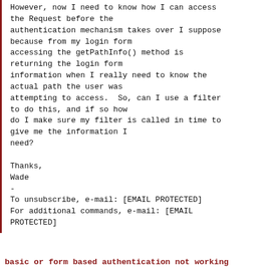However, now I need to know how I can access the Request before the authentication mechanism takes over I suppose because from my login form accessing the getPathInfo() method is returning the login form information when I really need to know the actual path the user was attempting to access.  So, can I use a filter to do this, and if so how do I make sure my filter is called in time to give me the information I need?

Thanks,
Wade
-
To unsubscribe, e-mail: [EMAIL PROTECTED]
For additional commands, e-mail: [EMAIL PROTECTED]
basic or form based authentication not working